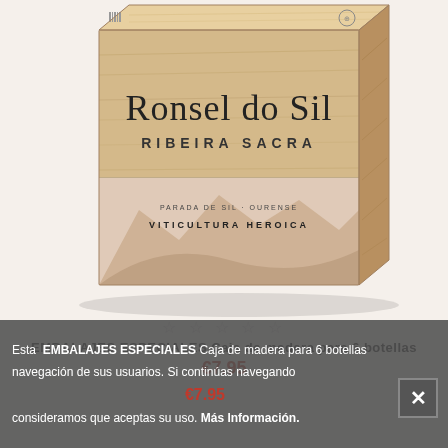[Figure (photo): A wooden box/crate labeled 'Ronsel do Sil' and 'RIBEIRA SACRA', with text 'VITICULTURA HEROICA' on the lower portion, product packaging for a Spanish wine from Ribeira Sacra region.]
☆☆☆☆☆
EMBALAJES ESPECIALES Caja de madera para 6 botellas
€7.95
Esta navegación de sus usuarios. Si continúas navegando consideramos que aceptas su uso. Más Información.